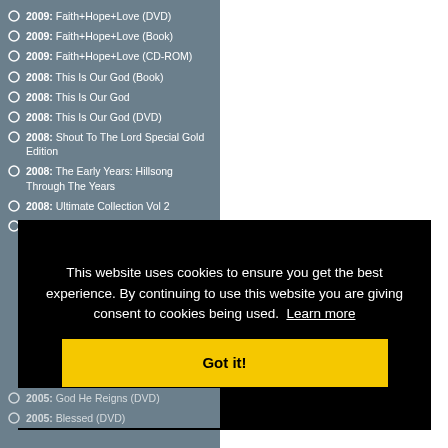2009: Faith+Hope+Love (DVD)
2009: Faith+Hope+Love (Book)
2009: Faith+Hope+Love (CD-ROM)
2008: This Is Our God (Book)
2008: This Is Our God
2008: This Is Our God (DVD)
2008: Shout To The Lord Special Gold Edition
2008: The Early Years: Hillsong Through The Years
2008: Ultimate Collection Vol 2
2007: Saviour King (DVD)
This website uses cookies to ensure you get the best experience. By continuing to use this website you are giving consent to cookies being used. Learn more
Got it!
2005: God He Reigns (DVD)
2005: Blessed (DVD)